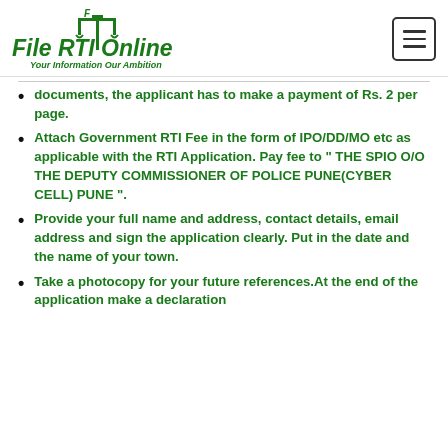[Figure (logo): File RTI Online logo with scales of justice icon, green text reading 'File RTI Online' and tagline 'Your Information Our Ambition']
documents, the applicant has to make a payment of Rs. 2 per page.
Attach Government RTI Fee in the form of IPO/DD/MO etc as applicable with the RTI Application. Pay fee to " THE SPIO O/O THE DEPUTY COMMISSIONER OF POLICE PUNE(CYBER CELL) PUNE ".
Provide your full name and address, contact details, email address and sign the application clearly. Put in the date and the name of your town.
Take a photocopy for your future references.At the end of the application make a declaration